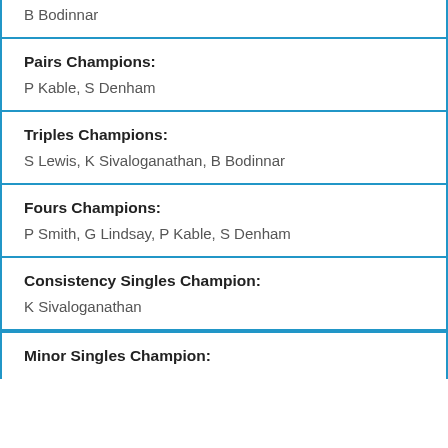Singles Champions:
B Bodinnar
Pairs Champions:
P Kable, S Denham
Triples Champions:
S Lewis, K Sivaloganathan, B Bodinnar
Fours Champions:
P Smith, G Lindsay, P Kable, S Denham
Consistency Singles Champion:
K Sivaloganathan
Minor Singles Champion: